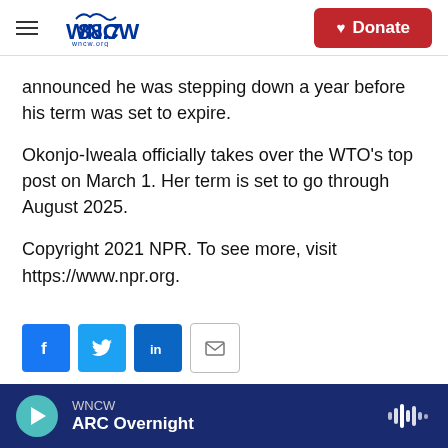WNCW 88.7 wncw.org — Donate
announced he was stepping down a year before his term was set to expire.
Okonjo-Iweala officially takes over the WTO's top post on March 1. Her term is set to go through August 2025.
Copyright 2021 NPR. To see more, visit https://www.npr.org.
[Figure (other): Social share buttons: Facebook, Twitter, LinkedIn, Email]
[Figure (photo): Partial thumbnail image of a person, cropped at bottom of page]
WNCW — ARC Overnight (audio player bar)